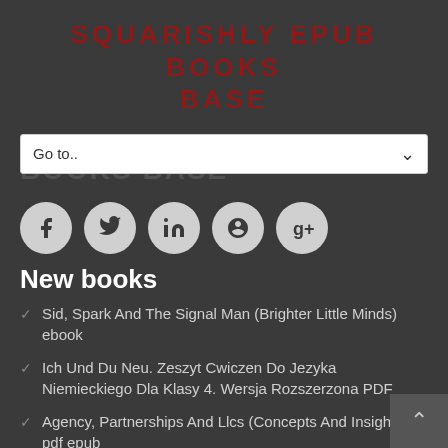SQUARISHLY EPUB BOOKS BASE
[Figure (screenshot): Navigation dropdown bar with 'Go to..' label and dropdown arrow]
[Figure (infographic): Row of 5 social media icon circles: Facebook, Twitter, LinkedIn, Pinterest, Google+]
New books
Sid, Spark And The Signal Man (Brighter Little Minds) ebook
Ich Und Du Neu. Zeszyt Cwiczen Do Jezyka Niemieckiego Dla Klasy 4. Wersja Rozszerzona PDF
Agency, Partnerships And Llcs (Concepts And Insights) pdf epub
Parent-Child Relations: An Introduction To Parenting (7Th Edition) pdf epub